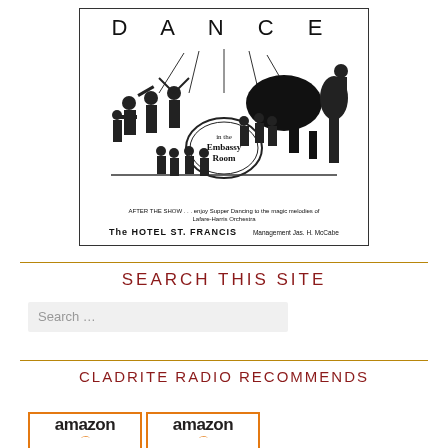[Figure (illustration): Vintage advertisement for dancing in the Embassy Room at Hotel St. Francis. Features silhouetted jazz band musicians with 'DANCE' text at top and 'in the Embassy Room' on a drum. Text reads: 'AFTER THE SHOW ... enjoy Supper Dancing to the magic melodies of Lafare-Harris Orchestra. The HOTEL ST. FRANCIS. Management Jas. H. McCabe.']
SEARCH THIS SITE
CLADRITE RADIO RECOMMENDS
[Figure (logo): Two Amazon logo boxes side by side with orange border and arrow]